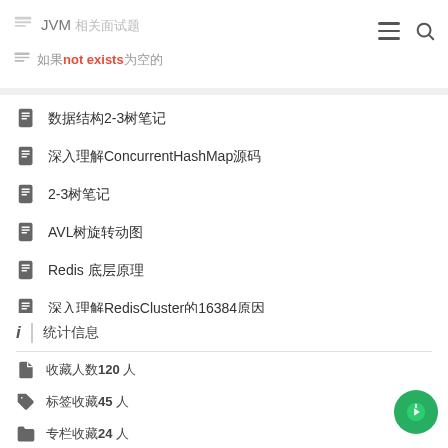JVM 相关面试题
not exists 中的
数据结构2-3树笔记
深入理解ConcurrentHashMap源码
2-3树笔记
AVL树旋转动图
Redis 底层原理
深入理解RedisCluster的16384原因
统计信息
收藏人数120 人
标签收藏45 人
专栏收藏24 人
评论条数17 条